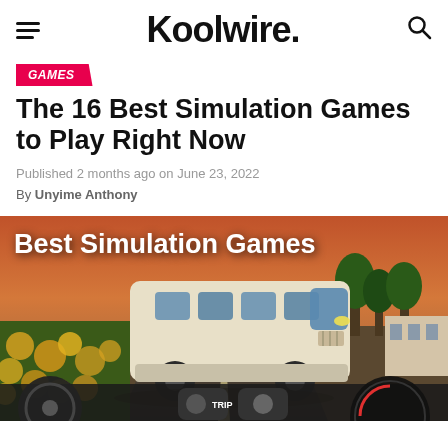Koolwire.
GAMES
The 16 Best Simulation Games to Play Right Now
Published 2 months ago on June 23, 2022
By Unyime Anthony
[Figure (photo): Screenshot of a bus simulation game showing a white coach bus driving on a road through a sunflower field at sunset, with game UI elements including a steering wheel, TRIP button visible. Text overlay reads 'Best Simulation Games'.]